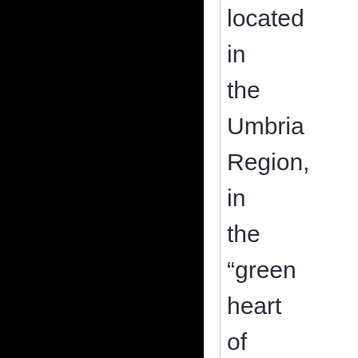located in the Umbria Region, in the “green heart of Italy”, famous for arts, music and natural landscapes. Today organized in 16 Departments and several